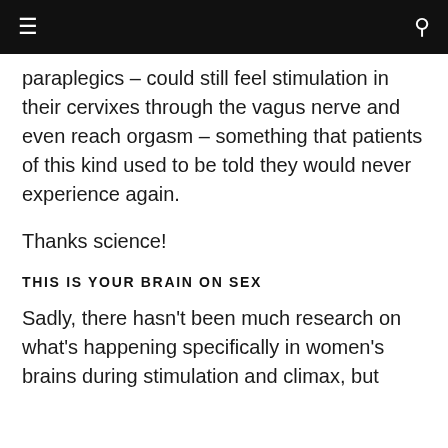≡  🔍
paraplegics – could still feel stimulation in their cervixes through the vagus nerve and even reach orgasm – something that patients of this kind used to be told they would never experience again.
Thanks science!
THIS IS YOUR BRAIN ON SEX
Sadly, there hasn't been much research on what's happening specifically in women's brains during stimulation and climax, but